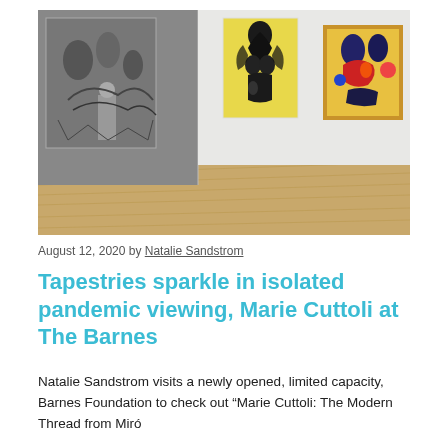[Figure (photo): Interior of an art gallery showing paintings on white walls. On the left is a large black and white historical photograph showing a person standing next to a large tapestry artwork. In the center and right are two colorful modern paintings on a white gallery wall, hanging above a wood parquet floor. The center painting features abstract female figures on a yellow background; the right painting shows abstract colorful shapes on a yellow background with a dark ornate frame.]
August 12, 2020 by Natalie Sandstrom
Tapestries sparkle in isolated pandemic viewing, Marie Cuttoli at The Barnes
Natalie Sandstrom visits a newly opened, limited capacity, Barnes Foundation to check out “Marie Cuttoli: The Modern Thread from Miró